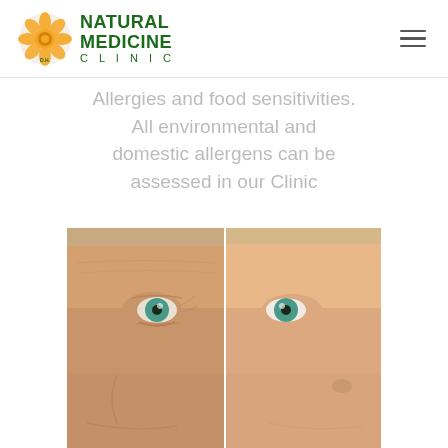[Figure (logo): Natural Medicine Clinic logo with orange flower/mandala and green text reading NATURAL MEDICINE CLINIC D.H.]
Allergies and food sensitivities. All environmental and domestic allergens can be assessed in our Clinic
[Figure (photo): Before and after comparison photo of a woman's face split down the middle, showing skin condition improvement — left side shows older/more tired appearance, right side shows fresher/healthier appearance]